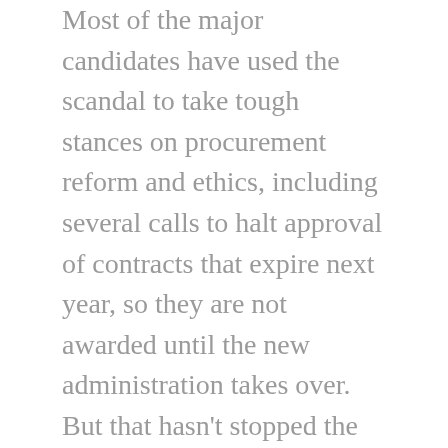Most of the major candidates have used the scandal to take tough stances on procurement reform and ethics, including several calls to halt approval of contracts that expire next year, so they are not awarded until the new administration takes over. But that hasn't stopped the flow of money from city vendors and contractors.
And that should surprise no one, said Emory University political science professor Michael Leo Owens.
"It's in their interests to demonstrate some support," Owens said of city vendors. "In the case of the candidates, every damn dollar matters to them."
The general election is Nov. 7, and the race is likely